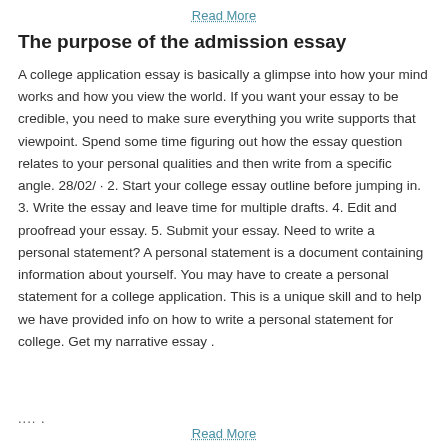Read More
The purpose of the admission essay
A college application essay is basically a glimpse into how your mind works and how you view the world. If you want your essay to be credible, you need to make sure everything you write supports that viewpoint. Spend some time figuring out how the essay question relates to your personal qualities and then write from a specific angle. 28/02/ · 2. Start your college essay outline before jumping in. 3. Write the essay and leave time for multiple drafts. 4. Edit and proofread your essay. 5. Submit your essay. Need to write a personal statement? A personal statement is a document containing information about yourself. You may have to create a personal statement for a college application. This is a unique skill and to help we have provided info on how to write a personal statement for college. Get my narrative essay .
.... Read More